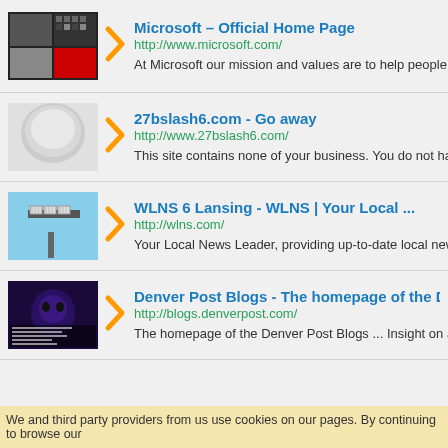Microsoft – Official Home Page
http://www.microsoft.com/
At Microsoft our mission and values are to help people and b
27bslash6.com - Go away
http://www.27bslash6.com/
This site contains none of your business. You do not have pe
WLNS 6 Lansing - WLNS | Your Local ...
http://wlns.com/
Your Local News Leader, providing up-to-date local news, we
Denver Post Blogs - The homepage of the De
http://blogs.denverpost.com/
The homepage of the Denver Post Blogs ... Insight on all thin
We and third party providers from us use cookies on our pages. By continuing to browse our